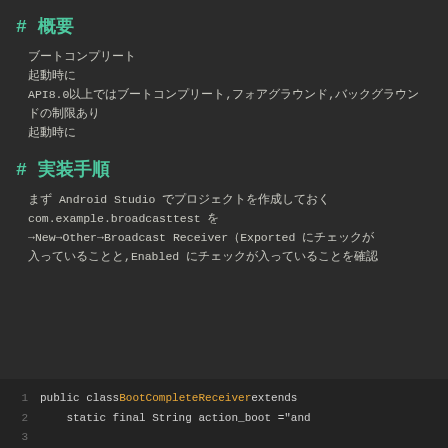# 概要
ブートコンプリート
起動時に
API8.0以上ではブートコンプリート,フォアグラウンド,バックグラウンドの制限あり
起動時に
# 実装手順
まず Android Studio でプロジェクトを作成しておく
com.example.broadcasttest を
→New→Other→Broadcast Receiver（Exported にチェックが
入っていることと,Enabled にチェックが入っていることを確認
[Figure (screenshot): Code block showing Java BroadcastReceiver class. Line 1: public class BootCompleteReceiver extends. Line 2: static final String action_boot ="and]